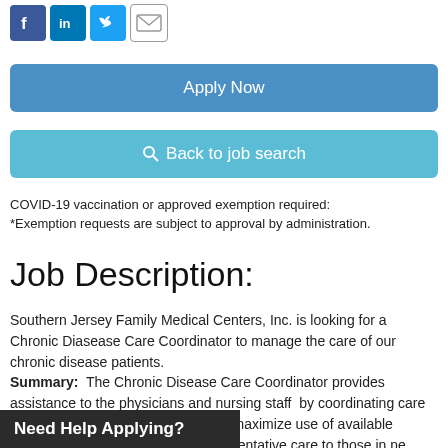[Figure (other): Social media share icons: Facebook, LinkedIn, Twitter, Email]
Apply Now
Back to job search
COVID-19 vaccination or approved exemption required:
*Exemption requests are subject to approval by administration.
Job Description:
Southern Jersey Family Medical Centers, Inc. is looking for a Chronic Diasease Care Coordinator to manage the care of our chronic disease patients.
Summary: The Chronic Disease Care Coordinator provides assistance to the physicians and nursing staff by coordinating care and services for patients in order to maximize use of available resources and to offer complete preventative care to those in ne
Need Help Applying?